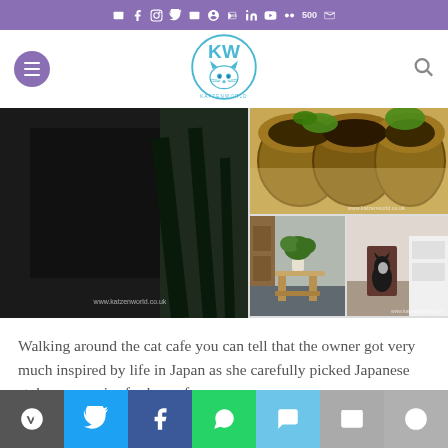[Figure (screenshot): Top social media icon bar with purple background showing email, Facebook, Instagram, Twitter, email, Pinterest, RSS, LinkedIn, YouTube, and other social icons in white]
[Figure (screenshot): Website header with Katzenworld logo (cat face in a circle), hamburger menu button on left, search icon on right]
[Figure (photo): Grid of four cat cafe photos: large dark interior on left, bamboo tube cat beds top right, small table with plant bottom middle, cat near furniture bottom right. Watermark: www.katzenworld.co.uk]
Walking around the cat cafe you can tell that the owner got very much inspired by life in Japan as she carefully picked Japanese style accessories for her cafe.
[Figure (screenshot): Bottom share bar with 7 colored buttons: WordPress (dark gray), Twitter (blue), Facebook (dark blue), WhatsApp (green), SMS (light blue), Email (gray), and hide (gray)]